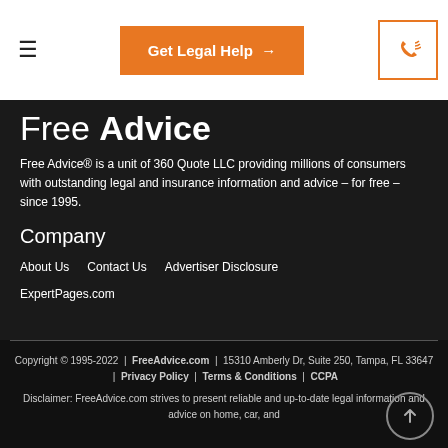≡  Get Legal Help →  [phone icon]
Free Advice
Free Advice® is a unit of 360 Quote LLC providing millions of consumers with outstanding legal and insurance information and advice – for free – since 1995.
Company
About Us
Contact Us
Advertiser Disclosure
ExpertPages.com
Copyright © 1995-2022 | FreeAdvice.com | 15310 Amberly Dr, Suite 250, Tampa, FL 33647 | Privacy Policy | Terms & Conditions | CCPA
Disclaimer: FreeAdvice.com strives to present reliable and up-to-date legal information and advice on home, car, and